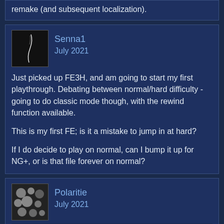remake (and subsequent localization).
Senna1
July 2021

Just picked up FE3H, and am going to start my first playthrough. Debating between normal/hard difficulty - going to do classic mode though, with the rewind function available.

This is my first FE; is it a mistake to jump in at hard?

If I do decide to play on normal, can I bump it up for NG+, or is that file forever on normal?
Polaritie
July 2021

Senna1 wrote: »
Just picked up FE3H, and am going to start my first playthrough. Debating between normal/hard difficulty...